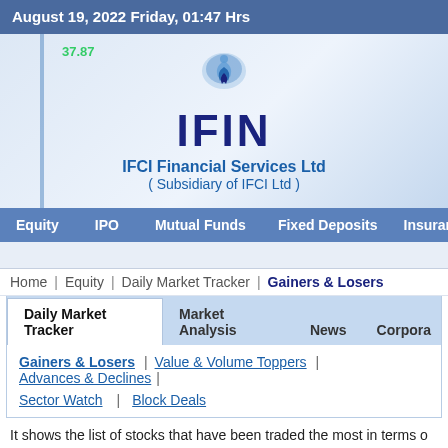August 19, 2022 Friday, 01:47 Hrs
[Figure (logo): IFIN logo with leaf/shield icon above bold IFIN text, IFCI Financial Services Ltd (Subsidiary of IFCI Ltd)]
Equity   IPO   Mutual Funds   Fixed Deposits   Insuran
Home   Equity   Daily Market Tracker   Gainers & Losers
Daily Market Tracker   Market Analysis   News   Corpora
Gainers & Losers | Value & Volume Toppers | Advances & Declines |
Sector Watch | Block Deals
It shows the list of stocks that have been traded the most in terms o